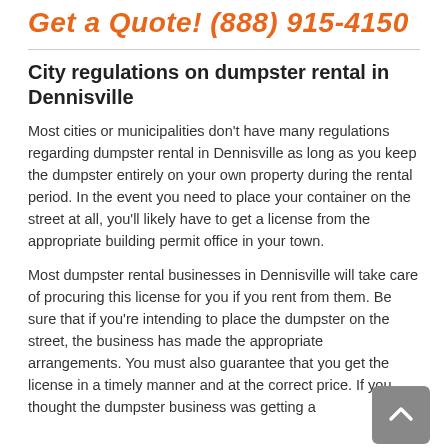Get a Quote! (888) 915-4150
City regulations on dumpster rental in Dennisville
Most cities or municipalities don't have many regulations regarding dumpster rental in Dennisville as long as you keep the dumpster entirely on your own property during the rental period. In the event you need to place your container on the street at all, you'll likely have to get a license from the appropriate building permit office in your town.
Most dumpster rental businesses in Dennisville will take care of procuring this license for you if you rent from them. Be sure that if you're intending to place the dumpster on the street, the business has made the appropriate arrangements. You must also guarantee that you get the license in a timely manner and at the correct price. If you thought the dumpster business was getting a